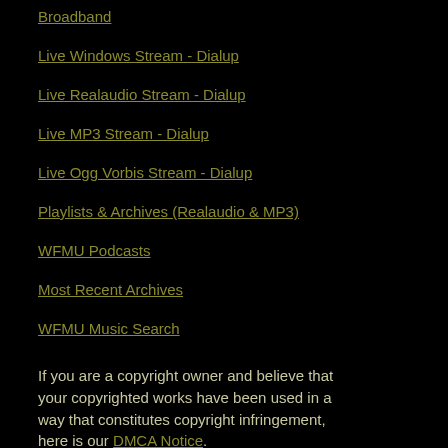Broadband
Live Windows Stream - Dialup
Live Realaudio Stream - Dialup
Live MP3 Stream - Dialup
Live Ogg Vorbis Stream - Dialup
Playlists & Archives (Realaudio & MP3)
WFMU Podcasts
Most Recent Archives
WFMU Music Search
If you are a copyright owner and believe that your copyrighted works have been used in a way that constitutes copyright infringement, here is our DMCA Notice.